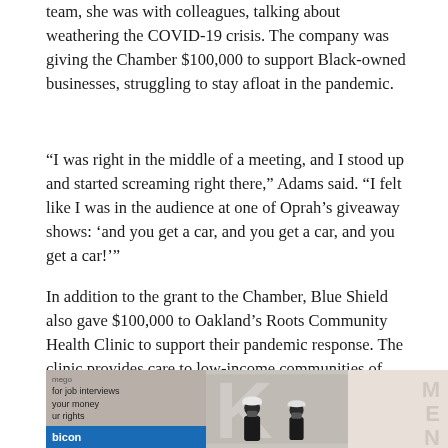team, she was with colleagues, talking about weathering the COVID-19 crisis. The company was giving the Chamber $100,000 to support Black-owned businesses, struggling to stay afloat in the pandemic.
“I was right in the middle of a meeting, and I stood up and started screaming right there,” Adams said. “I felt like I was in the audience at one of Oprah’s giveaway shows: ‘and you get a car, and you get a car, and you get a car!’”
In addition to the grant to the Chamber, Blue Shield also gave $100,000 to Oakland’s Roots Community Health Clinic to support their pandemic response. The clinic provides care to low-income communities of color and the unsheltered local population.
[Figure (photo): Photo showing two people wearing masks standing in front of a banner. On the left side there is a partial panel with text including 'for job interviews', 'your money', 'ur rights', and a blue bar with 'bicon'. The center shows large partial letter 'K' and the right side shows letters 'M E N T' vertically.]